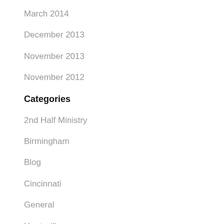March 2014
December 2013
November 2013
November 2012
Categories
2nd Half Ministry
Birmingham
Blog
Cincinnati
General
Huntsville
Jackson